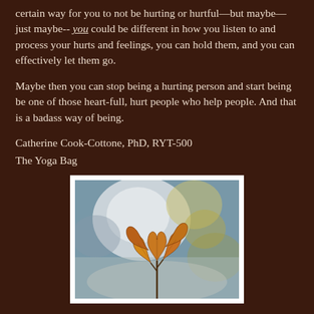certain way for you to not be hurting or hurtful—but maybe— just maybe-- you could be different in how you listen to and process your hurts and feelings, you can hold them, and you can effectively let them go.
Maybe then you can stop being a hurting person and start being be one of those heart-full, hurt people who help people. And that is a badass way of being.
Catherine Cook-Cottone, PhD, RYT-500
The Yoga Bag
[Figure (photo): Close-up photograph of a single autumn leaf with orange-brown tones on a twig, against a blurred bokeh background of blue, white, and golden tones.]